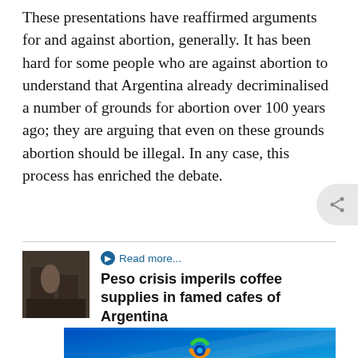These presentations have reaffirmed arguments for and against abortion, generally. It has been hard for some people who are against abortion to understand that Argentina already decriminalised a number of grounds for abortion over 100 years ago; they are arguing that even on these grounds abortion should be illegal. In any case, this process has enriched the debate.
Read more...
Peso crisis imperils coffee supplies in famed cafes of Argentina
[Figure (photo): Thumbnail photo showing a scene inside what appears to be a cafe or restaurant in Argentina]
[Figure (logo): BRAVO.TV advertisement banner with blue gradient background and colorful circular logo]